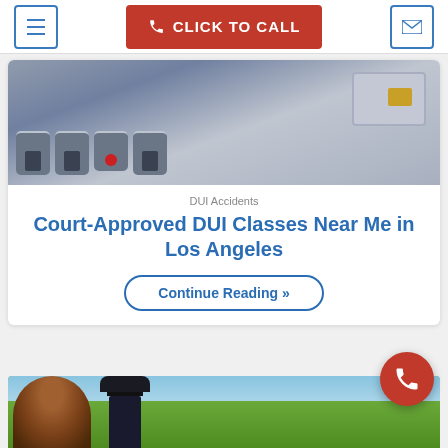☰  📞 CLICK TO CALL  ✉
[Figure (photo): Close-up photo of keyboard keys and a device with a SIM card, representing DUI-related technology or breathalyzer device]
DUI Accidents
Court-Approved DUI Classes Near Me in Los Angeles
Continue Reading »
[Figure (photo): Photo showing the back of a person's head with brown hair facing a police officer in uniform, with green trees in the background]